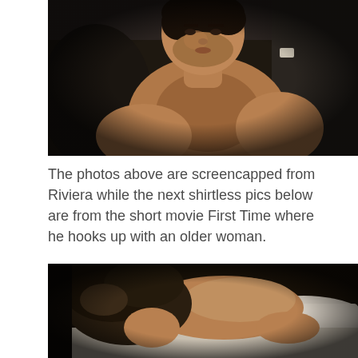[Figure (photo): Shirtless man with dark hair and beard reclining against dark sofa/headboard, upper torso visible, dark moody lighting — screencap from TV show Riviera]
The photos above are screencapped from Riviera while the next shirtless pics below are from the short movie First Time where he hooks up with an older woman.
[Figure (photo): Person lying face-down on white bedding with dark hair visible, shirtless back shown, dim warm lighting — still from short film First Time]